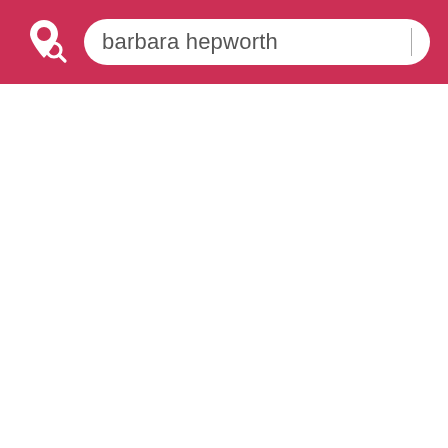[Figure (screenshot): App header bar with a location pin search icon logo on the left and a search input box containing the text 'barbara hepworth' with a cursor line on the right]
barbara hepworth